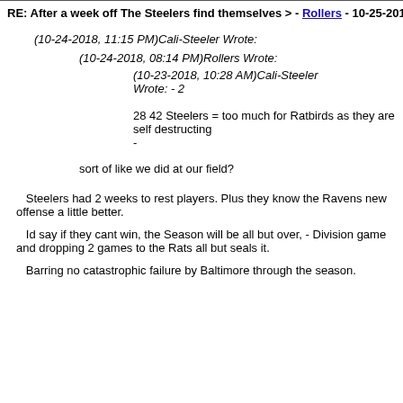RE: After a week off The Steelers find themselves > - Rollers - 10-25-201
(10-24-2018, 11:15 PM)Cali-Steeler Wrote:
(10-24-2018, 08:14 PM)Rollers Wrote:
(10-23-2018, 10:28 AM)Cali-Steeler Wrote: - 2

 28 42 Steelers = too much for Ratbirds as they are self destructing
-
sort of like we did at our field?
Steelers had 2 weeks to rest players. Plus they know the Ravens new offense a little better.
Id say if they cant win, the Season will be all but over, - Division game and dropping 2 games to the Rats all but seals it.
Barring no catastrophic failure by Baltimore through the season.